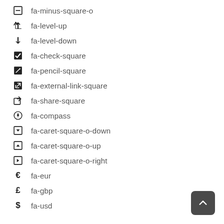fa-minus-square-o
fa-level-up
fa-level-down
fa-check-square
fa-pencil-square
fa-external-link-square
fa-share-square
fa-compass
fa-caret-square-o-down
fa-caret-square-o-up
fa-caret-square-o-right
fa-eur
fa-gbp
fa-usd